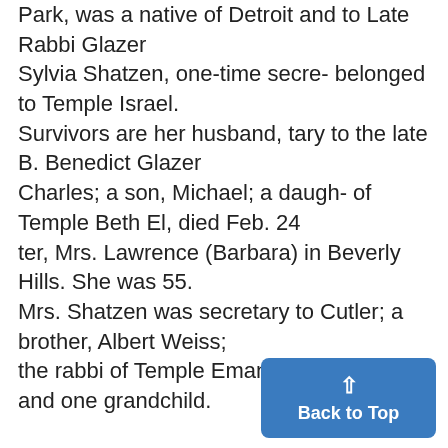Park, was a native of Detroit and to Late Rabbi Glazer
Sylvia Shatzen, one-time secre- belonged to Temple Israel.
Survivors are her husband, tary to the late B. Benedict Glazer
Charles; a son, Michael; a daugh- of Temple Beth El, died Feb. 24
ter, Mrs. Lawrence (Barbara) in Beverly Hills. She was 55.
Mrs. Shatzen was secretary to Cutler; a brother, Albert Weiss;
the rabbi of Temple Emanu-El and one grandchild.